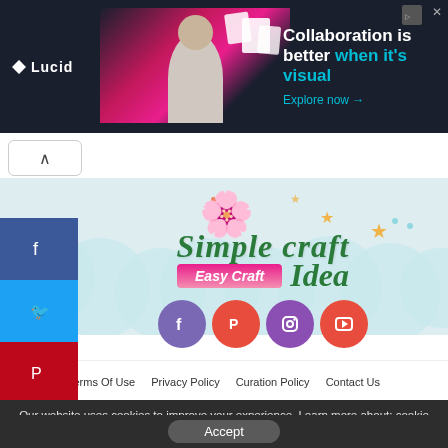[Figure (infographic): Lucid advertisement banner with dark background showing 'Collaboration is better when it's visual. Explore now →' with a woman using a computer and document icons]
[Figure (logo): Simple Craft Idea logo with pink flower, teal script text 'Simple craft Idea' and pink banner 'Easy Craft' on light blue cloud background with decorative hearts and stars]
[Figure (infographic): Social media icon circles: Facebook (purple), Pinterest (red), Instagram (purple), YouTube (red)]
Terms Of Use   Privacy Policy   Curation Policy   Contact Us
Our website uses cookies to improve your experience. Learn more about: cookie policy
Accept